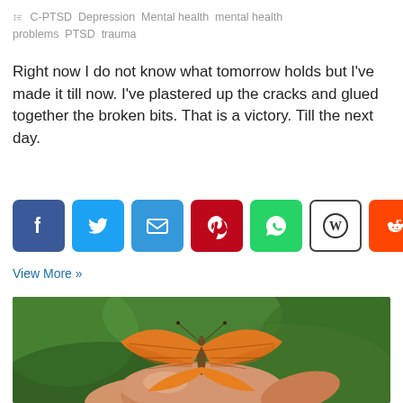C-PTSD  Depression  Mental health  mental health problems  PTSD  trauma
Right now I do not know what tomorrow holds but I've made it till now. I've plastered up the cracks and glued together the broken bits. That is a victory. Till the next day.
[Figure (infographic): Social media sharing buttons: Facebook, Twitter, Email, Pinterest, WhatsApp, WordPress, Reddit, Share/More]
View More »
[Figure (photo): A close-up photo of an orange butterfly with black vein markings resting on a person's hand, with a blurred green background.]